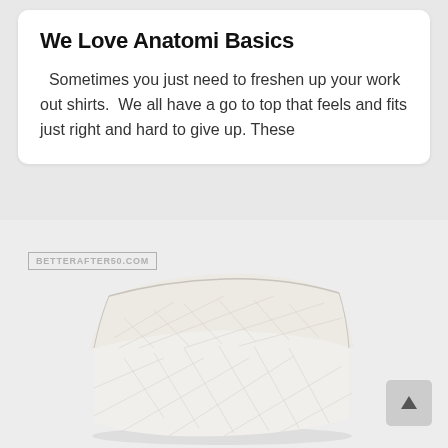We Love Anatomi Basics
Sometimes you just need to freshen up your work out shirts.  We all have a go to top that feels and fits just right and hard to give up. These
[Figure (photo): Folded white quilted fabric or garment on a light gray background, with a watermark reading BETTERAFTER50.COM and a back-to-top arrow button in the bottom right corner.]